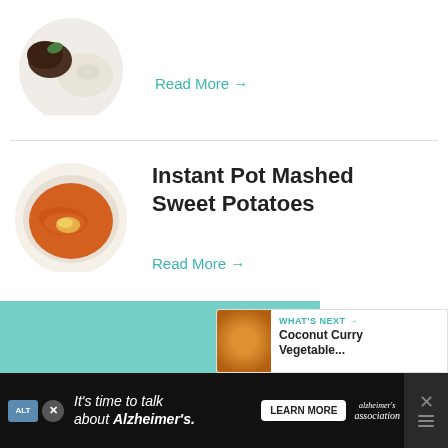[Figure (photo): Partial view of a food dish with rice and protein on a white plate, top section cut off]
Read More →
[Figure (photo): Overhead view of mashed sweet potatoes in a bowl with garnish]
Instant Pot Mashed Sweet Potatoes
Read More →
[Figure (photo): Heart/like button (teal circle with heart icon) showing count 77, and share button below]
[Figure (photo): Overhead view of a curry bowl with rice, mushrooms, lime slices in an orange sauce]
[Figure (photo): What's Next panel showing thumbnail of Coconut Curry Vegetable...]
WHAT'S NEXT → Coconut Curry Vegetable...
[Figure (screenshot): Alzheimer's Association advertisement banner: It's time to talk about Alzheimer's. with LEARN MORE button]